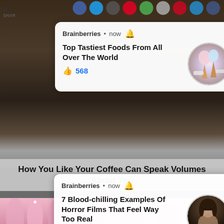[Figure (screenshot): Facebook-style social media feed screenshot showing two notification cards overlay a coffee/dark background image. Bottom shows article title bar and pink nail art image.]
Brainberries • now 🔔 Top Tastiest Foods From All Over The World 👍 568
Brainberries • now 🔔 7 Blood-chilling Examples Of Horror Films That Feel Way Too Real 👍 640
How You Like Your Coffee Can Speak Volumes About You